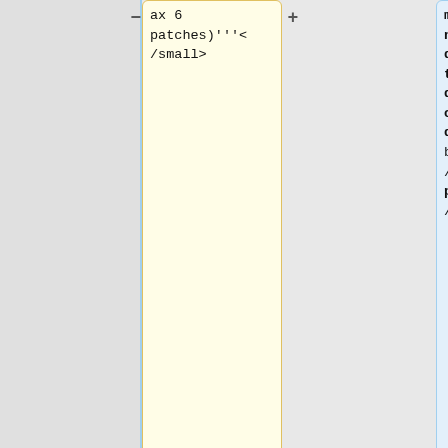ax 6
patches)'''</small>
may or may not be deployed at the sole discretion of the deployer'''<br />'''(Max 6 patches)'''</small>
|who=
{{ircnick|Amir1|Amir}},
{{ircnick|Lucas_WMDE|Lucas}},
{{ircnick|awright|Adam}},
{{ircnick|Ur
|who=
{{ircnick|RoanKattouw|Roan}},
{{ircnick|Urbanecm|Martin}},
{{ircnick|cjming|Clare}}